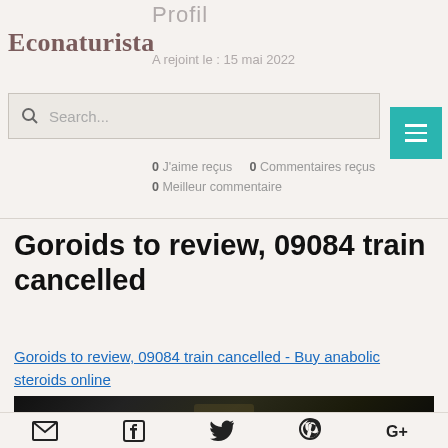Profil
Econaturista
A rejoint le : 15 mai 2022
Search...
0 J'aime reçus   0 Commentaires reçus
0 Meilleur commentaire
Goroids to review, 09084 train cancelled
Goroids to review, 09084 train cancelled - Buy anabolic steroids online
[Figure (photo): Blurred dark image, content obscured]
Social share icons: Email, Facebook, Twitter, Pinterest, Google+